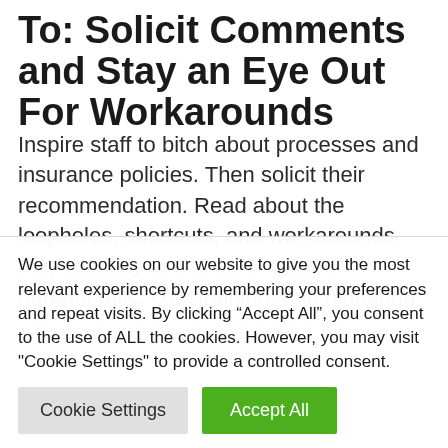To: Solicit Comments and Stay an Eye Out For Workarounds
Inspire staff to bitch about processes and insurance policies. Then solicit their recommendation. Read about the loopholes, shortcuts, and workarounds they recently use to steer clear of bureaucratic, constraining, and hindering processes. They're striking superb concepts into motion, albeit illegally. Acknowledge their effort and imagine how [text continues below]
We use cookies on our website to give you the most relevant experience by remembering your preferences and repeat visits. By clicking "Accept All", you consent to the use of ALL the cookies. However, you may visit "Cookie Settings" to provide a controlled consent.